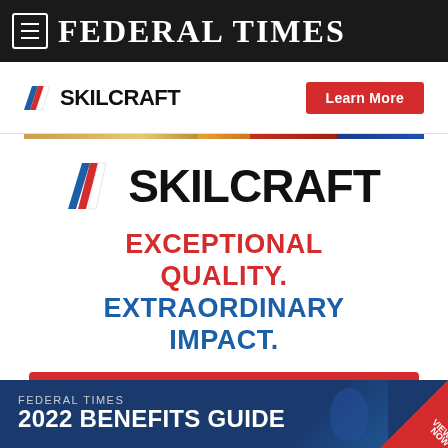FEDERAL TIMES
[Figure (logo): SKILCRAFT logo with diagonal striped flag icon and red Learn More button — top banner advertisement]
[Figure (logo): SKILCRAFT logo with diagonal striped flag icon — large main advertisement]
EXCEPTIONAL QUALITY. EXTRAORDINARY IMPACT.
Learn More
[Figure (infographic): Federal Times 2022 Benefits Guide banner with VIEW NOW badge]